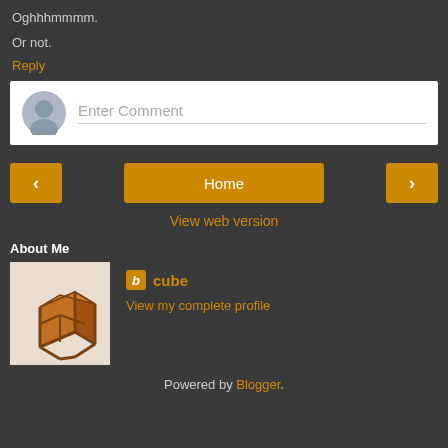Oghhhmmmm.
Or not.
Reply
[Figure (other): Comment entry box with avatar icon and 'Enter Comment' placeholder text]
[Figure (other): Navigation buttons: left arrow, Home, right arrow]
View web version
About Me
[Figure (photo): Wooden impossible cube optical illusion object on white background]
cube
View my complete profile
Powered by Blogger.